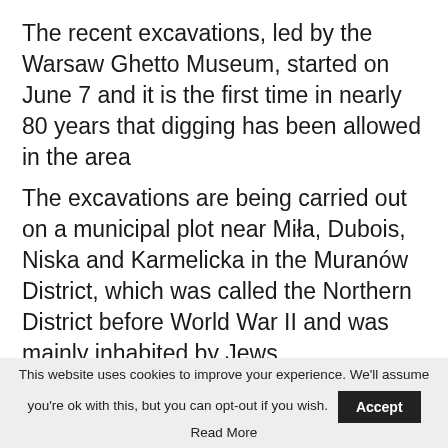The recent excavations, led by the Warsaw Ghetto Museum, started on June 7 and it is the first time in nearly 80 years that digging has been allowed in the area
The excavations are being carried out on a municipal plot near Miła, Dubois, Niska and Karmelicka in the Muranów District, which was called the Northern District before World War II and was mainly inhabited by Jews.
But from 1940 this area was enclosed within the border of the Warsaw Ghetto.
This website uses cookies to improve your experience. We'll assume you're ok with this, but you can opt-out if you wish. Accept Read More